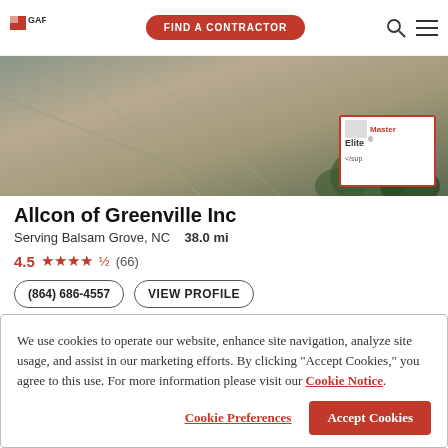GAF | FIND A CONTRACTOR
[Figure (photo): Aerial/overhead photo of a rooftop with trees visible, with a GAF Master Elite badge overlay in the bottom right corner]
Allcon of Greenville Inc
Serving Balsam Grove, NC  38.0 mi
4.5 ★★★★½ (66)
(864) 686-4557  VIEW PROFILE
Allcon Roofing was established with the vision of providing quality roof
We use cookies to operate our website, enhance site navigation, analyze site usage, and assist in our marketing efforts. By clicking "Accept Cookies," you agree to this use. For more information please visit our Cookie Notice.
Cookie Preferences  Accept Cookies